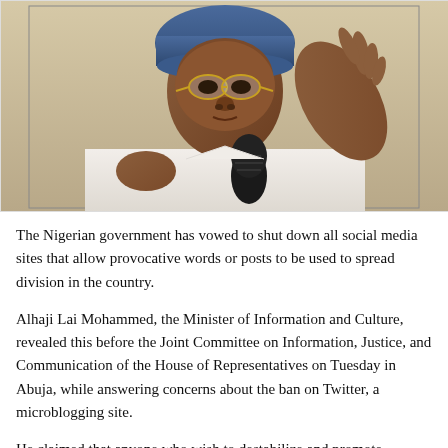[Figure (photo): Photograph of Alhaji Lai Mohammed, the Minister of Information and Culture, wearing a white outfit and blue cap, with round gold-rimmed glasses, gesturing with his right hand raised, speaking into a microphone.]
The Nigerian government has vowed to shut down all social media sites that allow provocative words or posts to be used to spread division in the country.
Alhaji Lai Mohammed, the Minister of Information and Culture, revealed this before the Joint Committee on Information, Justice, and Communication of the House of Representatives on Tuesday in Abuja, while answering concerns about the ban on Twitter, a microblogging site.
He claimed that anyone who wish to destabilize and promote divisiveness in Nigeria can use Twitter's platform.